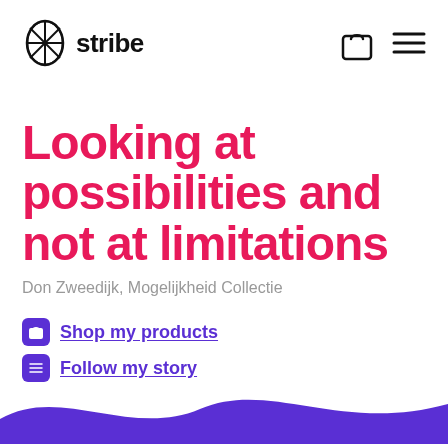[Figure (logo): Stribe logo: a circular woven/cross-hatched icon followed by the word 'stribe' in bold black text]
[Figure (other): Navigation icons: shopping bag icon and hamburger menu icon on the right side of the header]
Looking at possibilities and not at limitations
Don Zweedijk, Mogelijkheid Collectie
Shop my products
Follow my story
[Figure (illustration): Purple/violet wave decoration at the bottom of the page]